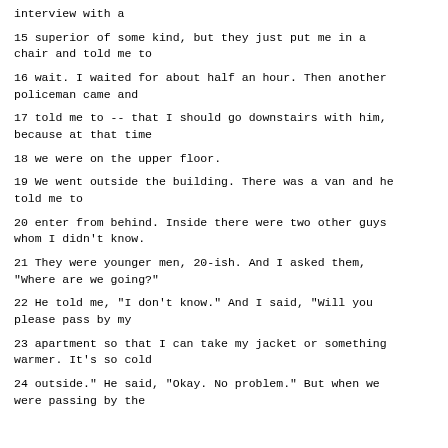interview with a
15 superior of some kind, but they just put me in a chair and told me to
16 wait. I waited for about half an hour. Then another policeman came and
17 told me to -- that I should go downstairs with him, because at that time
18 we were on the upper floor.
19 We went outside the building. There was a van and he told me to
20 enter from behind. Inside there were two other guys whom I didn't know.
21 They were younger men, 20-ish. And I asked them, "Where are we going?"
22 He told me, "I don't know." And I said, "Will you please pass by my
23 apartment so that I can take my jacket or something warmer. It's so cold
24 outside." He said, "Okay. No problem." But when we were passing by the